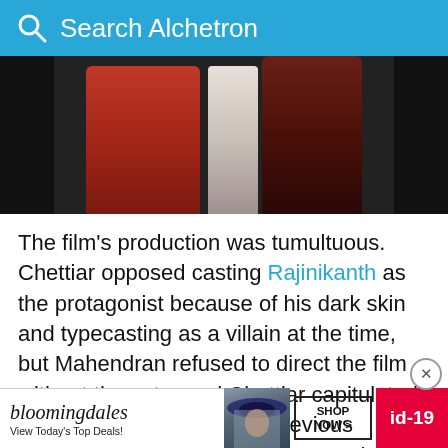Search Alchetron
[Figure (photo): Two people in traditional Indian attire embracing outdoors, woman in red/orange saree and man in brown clothing, with natural background]
The film's production was tumultuous. Chettiar opposed casting Rajinikanth as the protagonist because of his dark skin and typecasting as a villain at the time, but Mahendran refused to direct the film without the actor and Chettiar capitulated. Since Mahendran had no previous directing experience, cinematographer Balu Mahendra (a director himself) assisted Mahendran with the screenplay, dialogue, camera angles, casting and editing of it. novel
[Figure (screenshot): Bloomingdale's advertisement banner with 'View Today's Top Deals!' text, a person in a wide-brim hat, SHOP NOW button, and id-19 label in red]